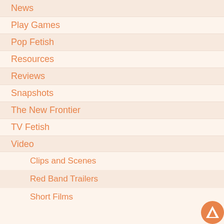News
Play Games
Pop Fetish
Resources
Reviews
Snapshots
The New Frontier
TV Fetish
Video
Clips and Scenes
Red Band Trailers
Short Films